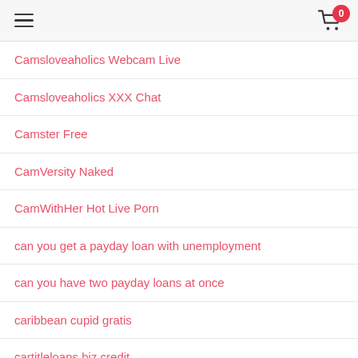☰  [cart icon] 0
Camsloveaholics Webcam Live
Camsloveaholics XXX Chat
Camster Free
CamVersity Naked
CamWithHer Hot Live Porn
can you get a payday loan with unemployment
can you have two payday loans at once
caribbean cupid gratis
cartitleloans.biz credit
cash 2 go payday loans
cash advance everyone approved